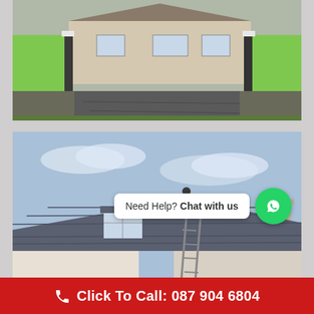[Figure (photo): Photograph of a residential property driveway entrance with bright green painted boundary walls and white capped pillars, grey tarmac driveway leading to a bungalow in the background.]
[Figure (photo): Photograph of a worker on the roof of a residential house, with a ladder propped against the side, grey slate roof tiles, dormer window, and chimney visible. A WhatsApp chat widget overlaid reading 'Need Help? Chat with us'.]
Click To Call: 087 904 6804